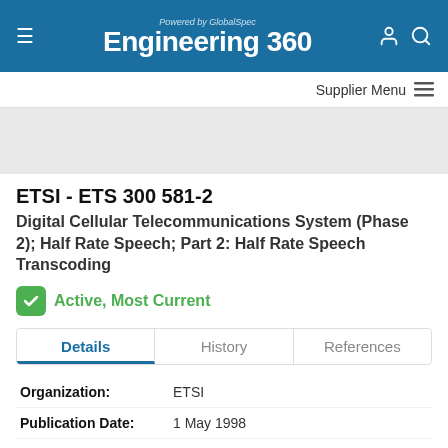Powered by GlobalSpec Engineering 360
Supplier Menu
ETSI - ETS 300 581-2
Digital Cellular Telecommunications System (Phase 2); Half Rate Speech; Part 2: Half Rate Speech Transcoding
Active, Most Current
Details | History | References
| Field | Value |
| --- | --- |
| Organization: | ETSI |
| Publication Date: | 1 May 1998 |
| Status: | Active |
| Page Count: | 47 |